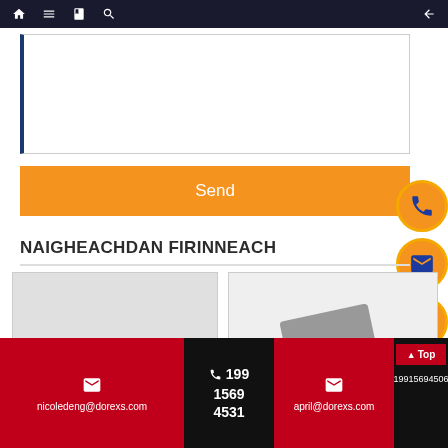Navigation bar with home, menu, book, search icons and back arrow
[Figure (screenshot): Empty text input/textarea with dark left border]
Send
[Figure (infographic): Orange circular floating action buttons on right side with phone, email, and navigation icons]
NAIGHEACHDAN FIRINNEACH
[Figure (photo): Light grey placeholder news card image on left]
[Figure (photo): Light grey placeholder news card image on right with dark device shape]
nicoledeng@dorexs.com  199 1569 4531  april@dorexs.com  19915694506  Top